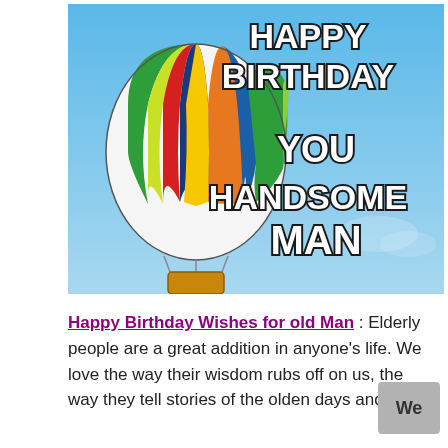[Figure (illustration): A colorful hot air balloon with red, yellow, green, blue, orange and white vertical stripes floating in a blue sky. On the right side of the image, large white bold text reads 'HAPPY BIRTHDAY YOU HANDSOME MAN' with dark outlines.]
Happy Birthday Wishes for old Man : Elderly people are a great addition in anyone's life. We love the way their wisdom rubs off on us, the way they tell stories of the olden days and the